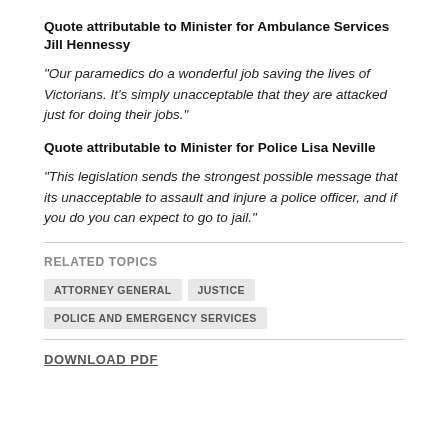Quote attributable to Minister for Ambulance Services Jill Hennessy
“Our paramedics do a wonderful job saving the lives of Victorians. It’s simply unacceptable that they are attacked just for doing their jobs.”
Quote attributable to Minister for Police Lisa Neville
“This legislation sends the strongest possible message that its unacceptable to assault and injure a police officer, and if you do you can expect to go to jail.”
RELATED TOPICS
ATTORNEY GENERAL
JUSTICE
POLICE AND EMERGENCY SERVICES
DOWNLOAD PDF